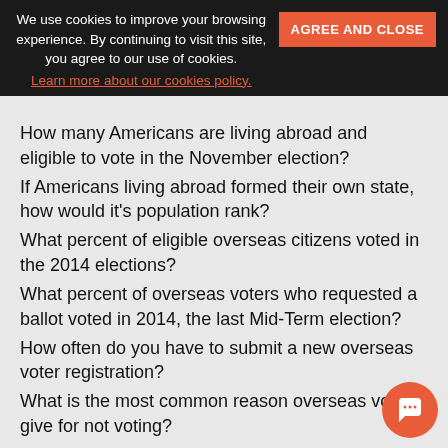We use cookies to improve your browsing experience. By continuing to visit this site, you agree to our use of cookies. Learn more about our cookies policy.
How many Americans are living abroad and eligible to vote in the November election?
If Americans living abroad formed their own state, how would it's population rank?
What percent of eligible overseas citizens voted in the 2014 elections?
What percent of overseas voters who requested a ballot voted in 2014, the last Mid-Term election?
How often do you have to submit a new overseas voter registration?
What is the most common reason overseas voters give for not voting?
What is the second most common reason given for not voting?